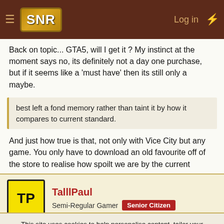SNR | Log in
Back on topic... GTA5, will I get it ? My instinct at the moment says no, its definitely not a day one purchase, but if it seems like a 'must have' then its still only a maybe.
best left a fond memory rather than taint it by how it compares to current standard.
And just how true is that, not only with Vice City but any game. You only have to download an old favourite off of the store to realise how spoilt we are by the current games.
TalllPaul
Semi-Regular Gamer | Senior Citizen
This site uses cookies to help personalise content, tailor your experience and to keep you logged in if you register.
By continuing to use this site, you are consenting to our use of cookies.